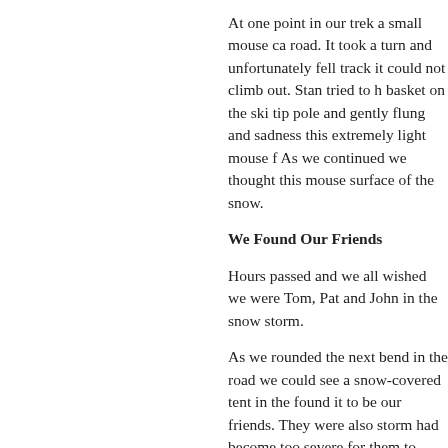At one point in our trek a small mouse ca... road. It took a turn and unfortunately fell... track it could not climb out. Stan tried to h... basket on the ski tip pole and gently flung... and sadness this extremely light mouse f... As we continued we thought this mouse... surface of the snow.
We Found Our Friends
Hours passed and we all wished we were... Tom, Pat and John in the snow storm.
As we rounded the next bend in the road... we could see a snow-covered tent in the... found it to be our friends. They were also... storm had become too severe for them to... since neither of them had ever been to th... never find it so they stayed in the middle... along. They offered to squeeze us into th...
We thought we were about half way to o... provide adequate shelter therefore we tu... Before we left Tom, Pat and John told us... morning.